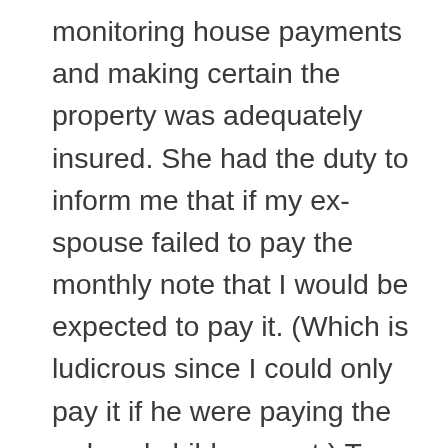monitoring house payments and making certain the property was adequately insured. She had the duty to inform me that if my ex-spouse failed to pay the monthly note that I would be expected to pay it. (Which is ludicrous since I could only pay it if he were paying the ordered child support.) To use the DTSA in my case put me in double jeopardy because the very funds I would need to pay the house mortgage in case the grantee defaulted would have had to come from the grantee himself in the form